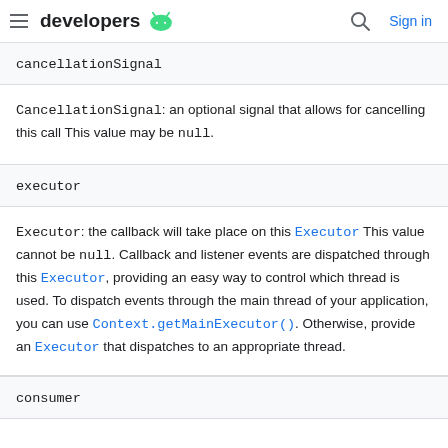developers
cancellationSignal
CancellationSignal: an optional signal that allows for cancelling this call This value may be null.
executor
Executor: the callback will take place on this Executor This value cannot be null. Callback and listener events are dispatched through this Executor, providing an easy way to control which thread is used. To dispatch events through the main thread of your application, you can use Context.getMainExecutor(). Otherwise, provide an Executor that dispatches to an appropriate thread.
consumer